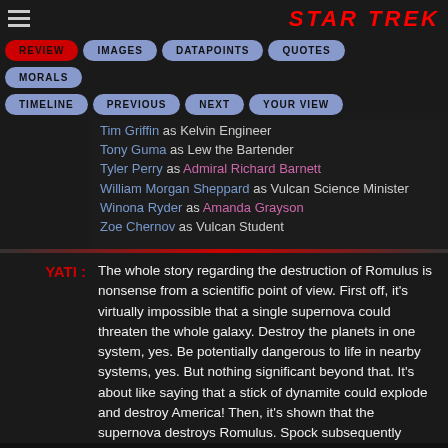STAR TREK
REVIEW | IMAGES | DATAPOINTS | QUOTES | MORALS
TIMELINE | PREVIOUS | NEXT | YOUR VIEW
Tim Griffin as Kelvin Engineer
Tony Guma as Lew the Bartender
Tyler Perry as Admiral Richard Barnett
William Morgan Sheppard as Vulcan Science Minister
Winona Ryder as Amanda Grayson
Zoe Chernov as Vulcan Student
YATI :
The whole story regarding the destruction of Romulus is nonsense from a scientific point of view. First off, it's virtually impossible that a single supernova could threaten the whole galaxy. Destroy the planets in one system, yes. Be potentially dangerous to life in nearby systems, yes. But nothing significant beyond that. It's about like saying that a stick of dynamite could explode and destroy America! Then, it's shown that the supernova destroys Romulus. Spock subsequently